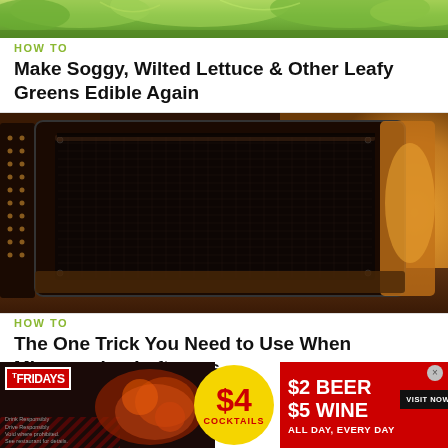[Figure (photo): Top portion of a photo showing leafy green lettuce]
HOW TO
Make Soggy, Wilted Lettuce & Other Leafy Greens Edible Again
[Figure (photo): Interior view of a microwave oven with the door mesh visible, warm amber lighting inside]
HOW TO
The One Trick You Need to Use When Microwaving Leftovers
[Figure (infographic): Advertisement for TGI Fridays: $4 Cocktails, $2 Beer, $5 Wine, All Day Every Day, Visit Now]